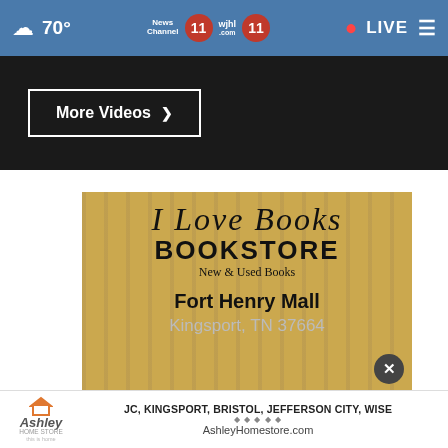70° • News Channel 11 / WJHL 11 • LIVE
[Figure (screenshot): More Videos button on dark video section background]
[Figure (photo): I Love Books Bookstore logo sign showing: I Love Books BOOKSTORE New & Used Books, Fort Henry Mall, Kingsport TN 37664, with a close (X) button]
[Figure (logo): Ashley HomeStore advertisement banner: JC, KINGSPORT, BRISTOL, JEFFERSON CITY, WISE — AshleyHomestore.com]